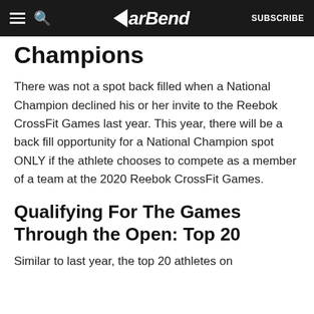BarBend — SUBSCRIBE
Champions
There was not a spot back filled when a National Champion declined his or her invite to the Reebok CrossFit Games last year. This year, there will be a back fill opportunity for a National Champion spot ONLY if the athlete chooses to compete as a member of a team at the 2020 Reebok CrossFit Games.
Qualifying For The Games Through the Open: Top 20
Similar to last year, the top 20 athletes on